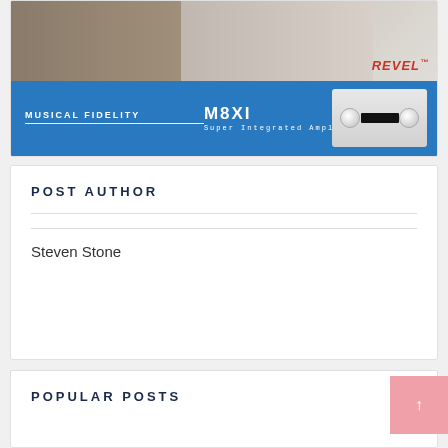[Figure (photo): Revel audio advertisement showing floor-standing speakers and audio equipment on the left, with the Revel logo in red on the right]
[Figure (photo): Musical Fidelity M8XI Super Integrated Amplifier advertisement with blue background, brand name on left and amplifier image on right]
POST AUTHOR
Steven Stone
POPULAR POSTS